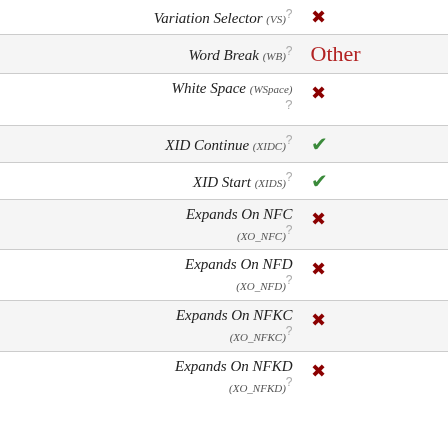| Property | Value |
| --- | --- |
| Variation Selector (VS) ? | ✗ |
| Word Break (WB) ? | Other |
| White Space (WSpace) ? | ✗ |
| XID Continue (XIDC) ? | ✓ |
| XID Start (XIDS) ? | ✓ |
| Expands On NFC (XO_NFC) ? | ✗ |
| Expands On NFD (XO_NFD) ? | ✗ |
| Expands On NFKC (XO_NFKC) ? | ✗ |
| Expands On NFKD (XO_NFKD) ? | ✗ |